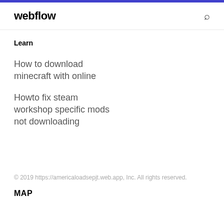webflow
Learn
How to download minecraft with online
Howto fix steam workshop specific mods not downloading
© 2019 https://americaloadsepjt.web.app, Inc. All rights reserved.
MAP